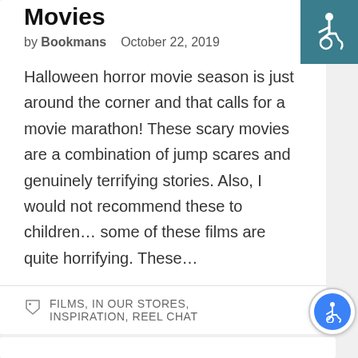Movies
by Bookmans   October 22, 2019
Halloween horror movie season is just around the corner and that calls for a movie marathon! These scary movies are a combination of jump scares and genuinely terrifying stories. Also, I would not recommend these to children… some of these films are quite horrifying. These…
FILMS, IN OUR STORES, INSPIRATION, REEL CHAT